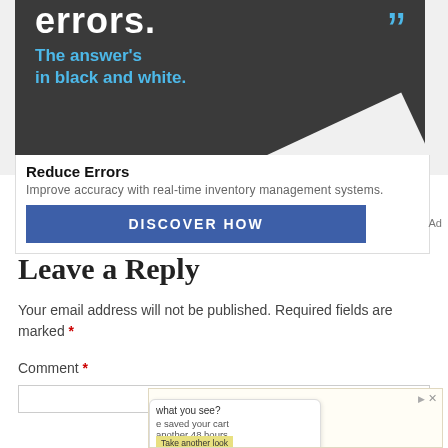[Figure (screenshot): Advertisement banner with dark background showing 'errors.' text and 'The answer's in black and white.' tagline with blue quotation marks]
Reduce Errors
Improve accuracy with real-time inventory management systems.
DISCOVER HOW
Ad
Leave a Reply
Your email address will not be published. Required fields are marked *
Comment *
[Figure (screenshot): Second advertisement overlay showing a shopping cart notification with 'what you see?', 'saved your cart', 'another 48 hours.' text and 'Take another look' button]